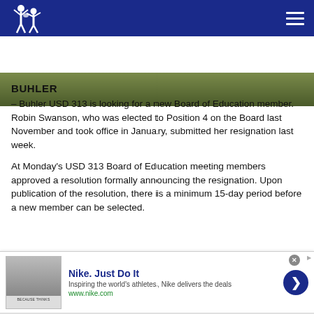Buhler USD 313 school news website header with logo and navigation
[Figure (photo): Grass field / outdoor image strip below the header navigation bar]
BUHLER
– Buhler USD 313 is looking for a new Board of Education member. Robin Swanson, who was elected to Position 4 on the Board last November and took office in January, submitted her resignation last week.
At Monday's USD 313 Board of Education meeting members approved a resolution formally announcing the resignation. Upon publication of the resolution, there is a minimum 15-day period before a new member can be selected.
[Figure (screenshot): Advertisement banner for Nike. Just Do It — Inspiring the world's athletes, Nike delivers the deals — www.nike.com]